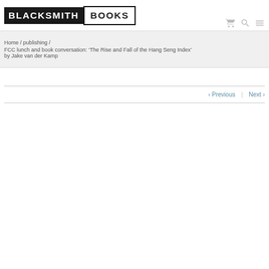[Figure (logo): Blacksmith Books logo — 'BLACKSMITH' in white on black background, 'BOOKS' in black with black border on white background]
Home / publishing / FCC lunch and book conversation: ‘The Rise and Fall of the Hang Seng Index’ by Jake van der Kamp
< Previous   Next >